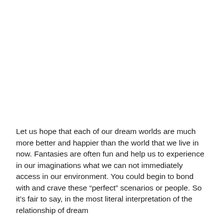Let us hope that each of our dream worlds are much more better and happier than the world that we live in now. Fantasies are often fun and help us to experience in our imaginations what we can not immediately access in our environment. You could begin to bond with and crave these “perfect” scenarios or people. So it’s fair to say, in the most literal interpretation of the relationship of dream